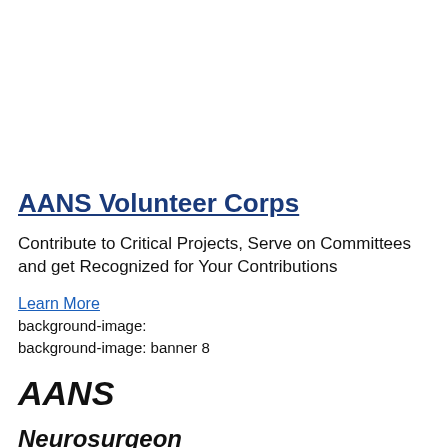AANS Volunteer Corps
Contribute to Critical Projects, Serve on Committees and get Recognized for Your Contributions
Learn More
background-image:
background-image: banner 8
AANS
Neurosurgeon